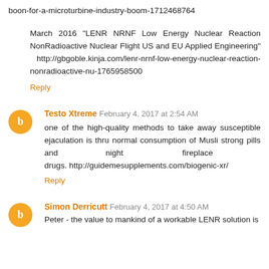boon-for-a-microturbine-industry-boom-1712468764
March 2016 "LENR NRNF Low Energy Nuclear Reaction NonRadioactive Nuclear Flight US and EU Applied Engineering" http://gbgoble.kinja.com/lenr-nrnf-low-energy-nuclear-reaction-nonradioactive-nu-1765958500
Reply
Testo Xtreme  February 4, 2017 at 2:54 AM
one of the high-quality methods to take away susceptible ejaculation is thru normal consumption of Musli strong pills and night fireplace drugs. http://guidemesupplements.com/biogenic-xr/
Reply
Simon Derricutt  February 4, 2017 at 4:50 AM
Peter - the value to mankind of a workable LENR solution is